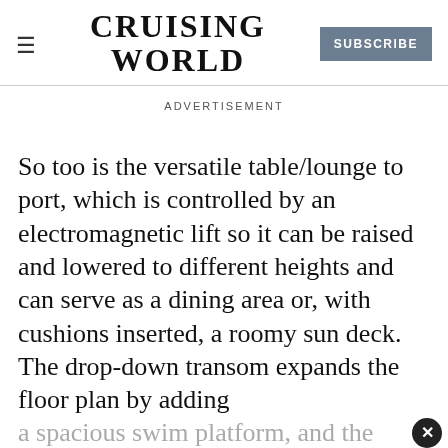CRUISING WORLD | SUBSCRIBE
ADVERTISEMENT
So too is the versatile table/lounge to port, which is controlled by an electromagnetic lift so it can be raised and lowered to different heights and can serve as a dining area or, with cushions inserted, a roomy sun deck. The drop-down transom expands the floor plan by adding
a spacious swim platform, and the shower head can be affixed to a stainless-steel rail